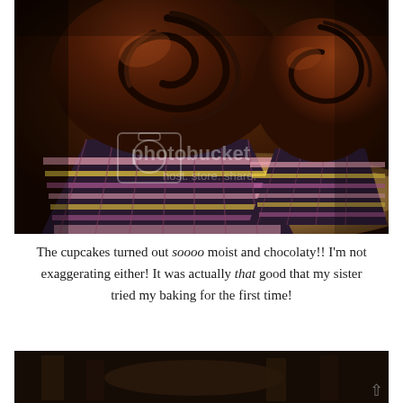[Figure (photo): Close-up photograph of chocolate cupcakes with rich chocolate frosting swirls, in colorful patterned paper liners (pink, yellow, purple), sitting on foil. A Photobucket watermark is visible in the center of the image.]
The cupcakes turned out soooo moist and chocolaty!! I'm not exaggerating either! It was actually that good that my sister tried my baking for the first time!
[Figure (photo): Partially visible bottom photo showing a dark interior scene, appears to be people or objects in a dimly lit room.]